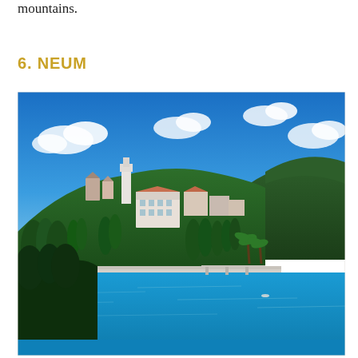mountains.
6. NEUM
[Figure (photo): Coastal town of Neum, Bosnia and Herzegovina, showing hillside buildings, cypress trees, and blue Adriatic Sea water with mountains in the background under a bright blue sky with clouds.]